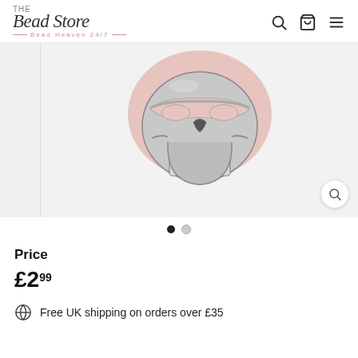The Bead Store — Bead Heaven 24/7
[Figure (photo): Close-up photo of a silver skull bead with pink enamel eye area, showing detailed teeth and bone structure, on a white background]
Price
£2.99
Free UK shipping on orders over £35